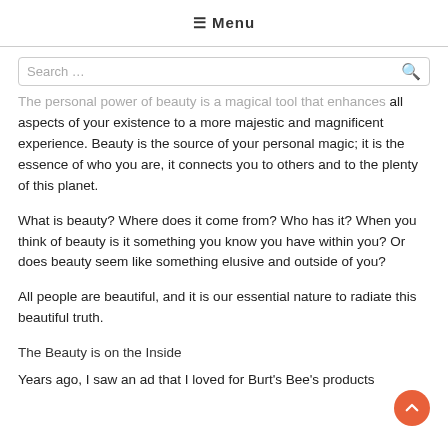≡ Menu
The personal power of beauty is a magical tool that enhances all aspects of your existence to a more majestic and magnificent experience. Beauty is the source of your personal magic; it is the essence of who you are, it connects you to others and to the plenty of this planet.
What is beauty? Where does it come from? Who has it? When you think of beauty is it something you know you have within you? Or does beauty seem like something elusive and outside of you?
All people are beautiful, and it is our essential nature to radiate this beautiful truth.
The Beauty is on the Inside
Years ago, I saw an ad that I loved for Burt's Bee's products